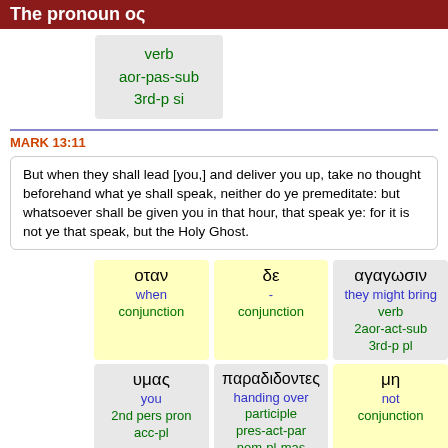The pronoun ος
| verb | aor-pas-sub | 3rd-p si |
MARK 13:11
But when they shall lead [you,] and deliver you up, take no thought beforehand what ye shall speak, neither do ye premeditate: but whatsoever shall be given you in that hour, that speak ye: for it is not ye that speak, but the Holy Ghost.
| οταν
when
conjunction | δε
-
conjunction | αγαγωσιν
they might bring
verb
2aor-act-sub
3rd-p pl |
| υμας
you
2nd pers pron
acc-pl | παραδιδοντες
handing over
participle
pres-act-par
nom-pl-mas | μη
not
conjunction |
| προμεριμνατε | τι | λαλησητε |